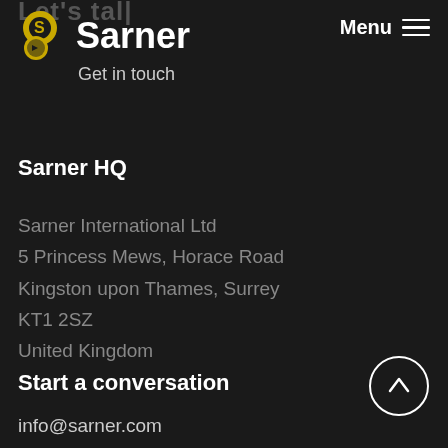Let's talk
Sarner — Get in touch | Menu
Sarner HQ
Sarner International Ltd
5 Princess Mews, Horace Road
Kingston upon Thames, Surrey
KT1 2SZ
United Kingdom
Start a conversation
info@sarner.com